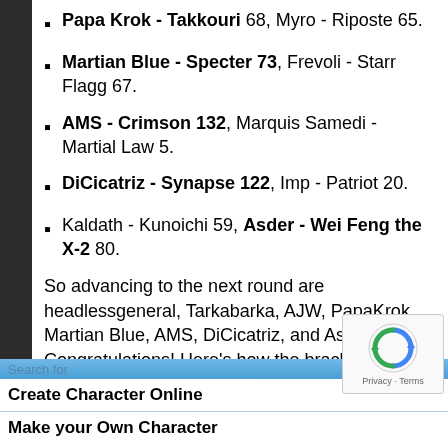Papa Krok - Takkouri 68, Myro - Riposte 65.
Martian Blue - Specter 73, Frevoli - Starr Flagg 67.
AMS - Crimson 132, Marquis Samedi - Martial Law 5.
DiCicatriz - Synapse 122, Imp - Patriot 20.
Kaldath - Kunoichi 59, Asder - Wei Feng the X-2 80.
So advancing to the next round are headlessgeneral, Tarkabarka, AJW, PapaKrok, Martian Blue, AMS, DiCicatriz, and Asder. Congratulations! Here's how the brackets look:
Search for
Create Character Online
Make your Own Character